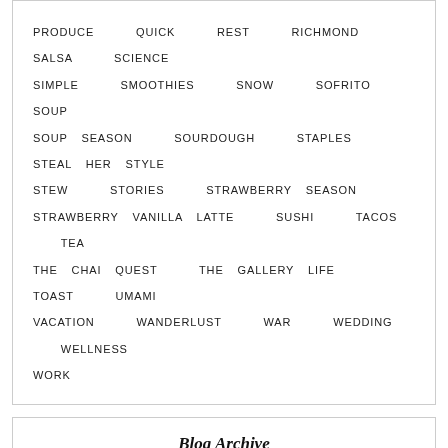PRODUCE  QUICK  REST  RICHMOND  SALSA  SCIENCE  SIMPLE  SMOOTHIES  SNOW  SOFRITO  SOUP  SOUP SEASON  SOURDOUGH  STAPLES  STEAL HER STYLE  STEW  STORIES  STRAWBERRY SEASON  STRAWBERRY VANILLA LATTE  SUSHI  TACOS  TEA  THE CHAI QUEST  THE GALLERY LIFE  TOAST  UMAMI  VACATION  WANDERLUST  WAR  WEDDING  WELLNESS  WORK
Blog Archive
► 2022 (7)
► 2021 (6)